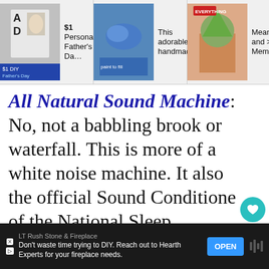[Figure (screenshot): Top advertisement banner showing three product ads: '$1 Personalized Father's Da…', 'This adorable handmade…', and 'Meaning and Memorable' with thumbnail images]
All Natural Sound Machine: No, not a babbling brook or waterfall. This is more of a white noise machine. It also the official Sound Conditione of the National Sleep Foundation.
[Figure (screenshot): Bottom advertisement banner: LT Rush Stone & Fireplace — Don't waste time trying to DIY. Reach out to Hearth Experts for your fireplace needs. OPEN button.]